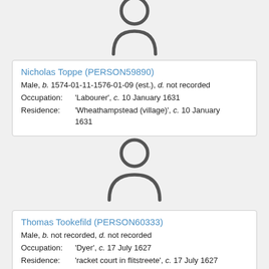[Figure (illustration): Generic person silhouette icon (head and shoulders outline), gray, top portion visible]
Nicholas Toppe (PERSON59890)
Male, b. 1574-01-11-1576-01-09 (est.), d. not recorded
Occupation: 'Labourer', c. 10 January 1631
Residence: 'Wheathampstead (village)', c. 10 January 1631
[Figure (illustration): Generic person silhouette icon (head and shoulders outline), gray, full icon]
Thomas Tookefild (PERSON60333)
Male, b. not recorded, d. not recorded
Occupation: 'Dyer', c. 17 July 1627
Residence: 'racket court in flitstreete', c. 17 July 1627